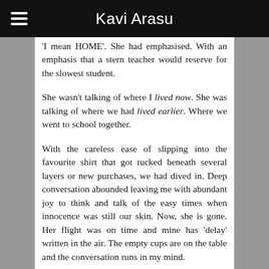Kavi Arasu
'I mean HOME'. She had emphasised. With an emphasis that a stern teacher would reserve for the slowest student.
She wasn't talking of where I lived now. She was talking of where we had lived earlier. Where we went to school together.
With the careless ease of slipping into the favourite shirt that got tucked beneath several layers or new purchases, we had dived in. Deep conversation abounded leaving me with abundant joy to think and talk of the easy times when innocence was still our skin. Now, she is gone. Her flight was on time and mine has 'delay' written in the air. The empty cups are on the table and the conversation runs in my mind.